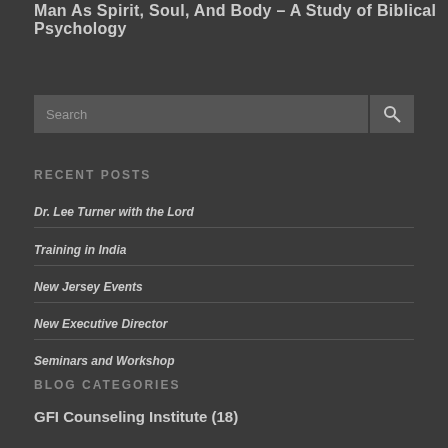Man As Spirit, Soul, And Body – A Study of Biblical Psychology
Search
RECENT POSTS
Dr. Lee Turner with the Lord
Training in India
New Jersey Events
New Executive Director
Seminars and Workshop
BLOG CATEGORIES
GFI Counseling Institute (18)